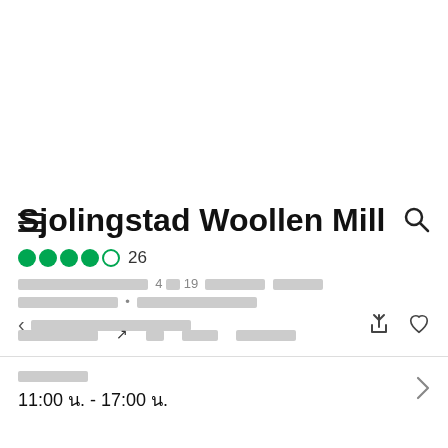Navigation bar with hamburger menu and search icon
< [redacted breadcrumb] share heart
Sjolingstad Woollen Mill
4 of 19 [redacted] 26
[redacted] • [redacted]
[redacted link] [link] [link] [link]
[redacted label] 11:00 น. - 17:00 น.